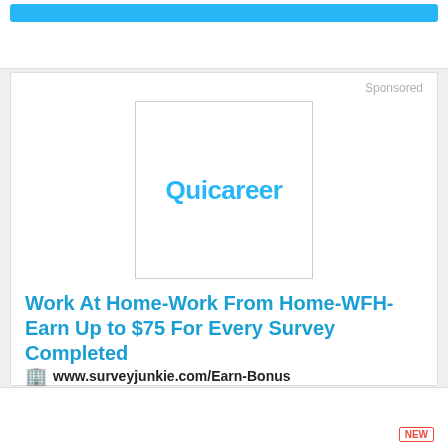[Figure (logo): Quicareer logo in blue text inside a white bordered square box]
Sponsored
Work At Home-Work From Home-WFH-Earn Up to $75 For Every Survey Completed
www.surveyjunkie.com/Earn-Bonus
Join Survey Junkie Today. Free, legitimate, Profitable Get Paid Online in Your Spare Time.
More Details
NEW